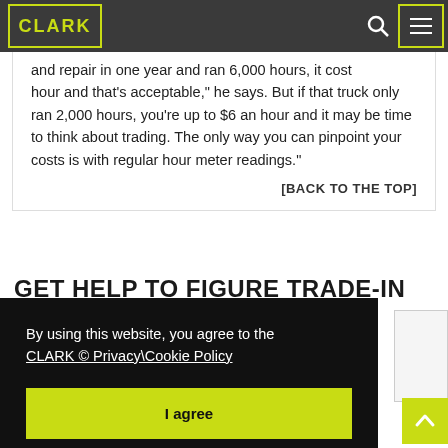CLARK [logo] [search] [menu]
and repair in one year and ran 6,000 hours, it cost [per] hour and that's acceptable," he says. But if that truck only ran 2,000 hours, you're up to $6 an hour and it may be time to think about trading. The only way you can pinpoint your costs is with regular hour meter readings."
[BACK TO THE TOP]
GET HELP TO FIGURE TRADE-IN TIME
By using this website, you agree to the CLARK © Privacy\Cookie Policy
I agree
deciding when to trade.